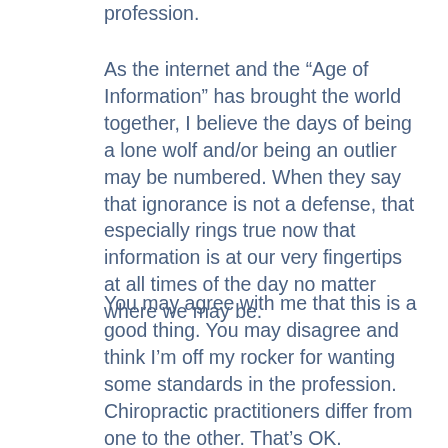profession.
As the internet and the “Age of Information” has brought the world together, I believe the days of being a lone wolf and/or being an outlier may be numbered. When they say that ignorance is not a defense, that especially rings true now that information is at our very fingertips at all times of the day no matter where we may be.
You may agree with me that this is a good thing. You may disagree and think I’m off my rocker for wanting some standards in the profession. Chiropractic practitioners differ from one to the other. That’s OK. Differences in opinions is American to the core. Usually what triumphs is reason and, if you find these